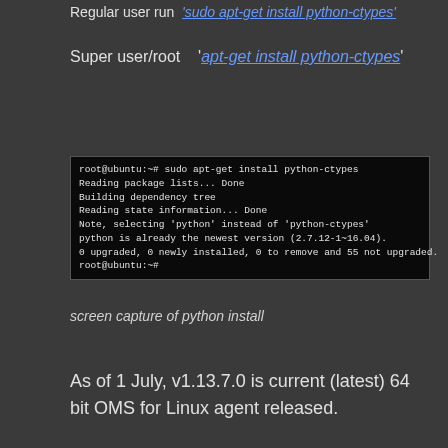Regular user run 'sudo apt-get install python-ctypes'
Super user/root  'apt-get install python-ctypes'
[Figure (screenshot): Terminal screenshot showing: root@ubuntu:~# sudo apt-get install python-ctypes / Reading package lists... Done / Building dependency tree / Reading state information... Done / Note, selecting 'python' instead of 'python-ctypes' / python is already the newest version (2.7.12-1~16.04). / 0 upgraded, 0 newly installed, 0 to remove and 55 not upgraded. / root@ubuntu:~#]
screen capture of python install
As of 1 July, v1.13.7.0 is current (latest) 64 bit OMS for Linux agent released.